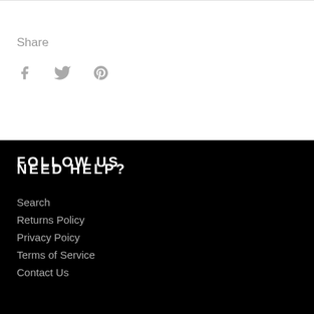Share
[Figure (other): Social media icons: Facebook (f), Twitter (bird), Pinterest (p)]
NEED HELP?
Search
Returns Policy
Privacy Poicy
Terms of Service
Contact Us
FOLLOW US